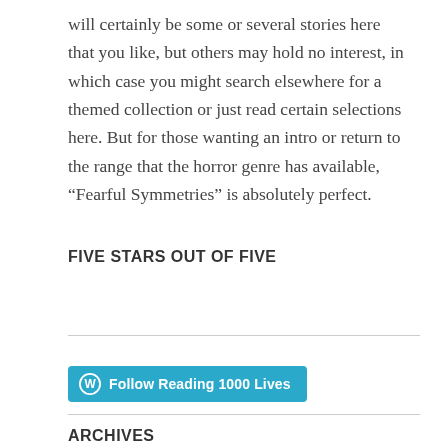will certainly be some or several stories here that you like, but others may hold no interest, in which case you might search elsewhere for a themed collection or just read certain selections here. But for those wanting an intro or return to the range that the horror genre has available, “Fearful Symmetries” is absolutely perfect.
FIVE STARS OUT OF FIVE
[Figure (other): Horizontal rule separator]
[Figure (other): WordPress Follow button: Follow Reading 1000 Lives]
[Figure (other): Horizontal rule separator]
ARCHIVES